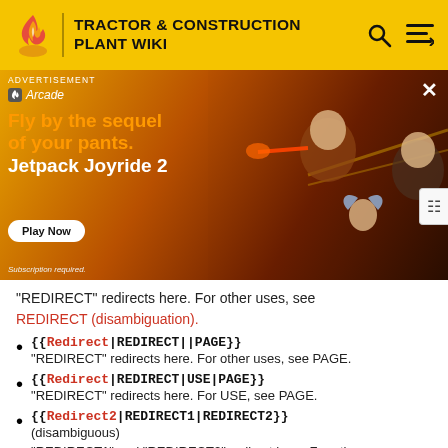TRACTOR & CONSTRUCTION PLANT WIKI
[Figure (photo): Advertisement banner for Jetpack Joyride 2 on Apple Arcade, showing animated game characters with text 'Fly by the sequel of your pants. Jetpack Joyride 2' and a Play Now button.]
"REDIRECT" redirects here. For other uses, see REDIRECT (disambiguation).
{{Redirect|REDIRECT||PAGE}} - "REDIRECT" redirects here. For other uses, see PAGE.
{{Redirect|REDIRECT|USE|PAGE}} - "REDIRECT" redirects here. For USE, see PAGE.
{{Redirect2|REDIRECT1|REDIRECT2}} - (disambiguous) - "REDIRECT1" and "REDIRECT2" redirect here. For other